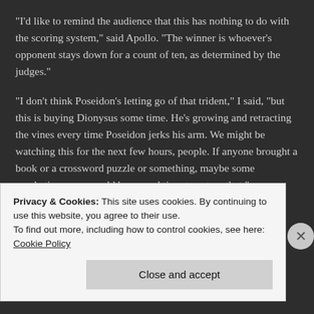“I’d like to remind the audience that this has nothing to do with the scoring system,” said Apollo. “The winner is whoever’s opponent stays down for a count of ten, as determined by the judges.”
“I don’t think Poseidon’s letting go of that trident,” I said, “but this is buying Dionysus some time. He’s growing and retracting the vines every time Poseidon jerks his arm. We might be watching this for the next few hours, people. If anyone brought a book or a crossword puzzle or something, maybe some crocheting, now would be a good time to get on that.”
“I hope everyone here has the wisdom to ignore my assistant, because Dionysus is expanding the vines up
Privacy & Cookies: This site uses cookies. By continuing to use this website, you agree to their use.
To find out more, including how to control cookies, see here: Cookie Policy
Close and accept